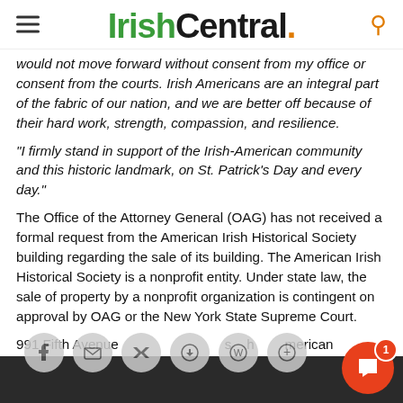IrishCentral.
would not move forward without consent from my office or consent from the courts. Irish Americans are an integral part of the fabric of our nation, and we are better off because of their hard work, strength, compassion, and resilience.
"I firmly stand in support of the Irish-American community and this historic landmark, on St. Patrick's Day and every day."
The Office of the Attorney General (OAG) has not received a formal request from the American Irish Historical Society building regarding the sale of its building. The American Irish Historical Society is a nonprofit entity. Under state law, the sale of property by a nonprofit organization is contingent on approval by OAG or the New York State Supreme Court.
991 Fifth Avenue is home to the American Irish Historical Society...